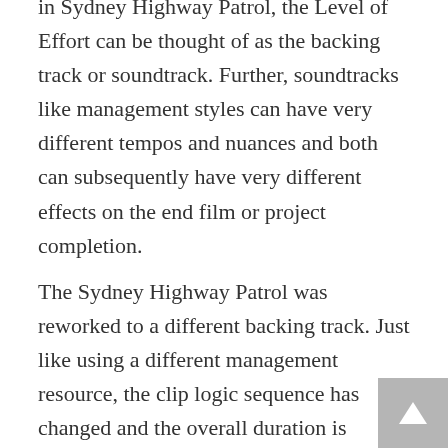in Sydney Highway Patrol, the Level of Effort can be thought of as the backing track or soundtrack. Further, soundtracks like management styles can have very different tempos and nuances and both can subsequently have very different effects on the end film or project completion.
The Sydney Highway Patrol was reworked to a different backing track. Just like using a different management resource, the clip logic sequence has changed and the overall duration is revised but the plot of the film remains the same.
The lesson here is that both clips are completed in largely similar but also very different ways with respect to...